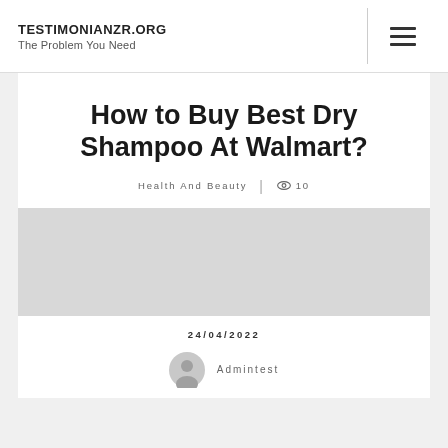TESTIMONIANZR.ORG – The Problem You Need
How to Buy Best Dry Shampoo At Walmart?
Health And Beauty  |  👁 10
[Figure (photo): Article featured image placeholder (gray rectangle)]
24/04/2022
Admintest